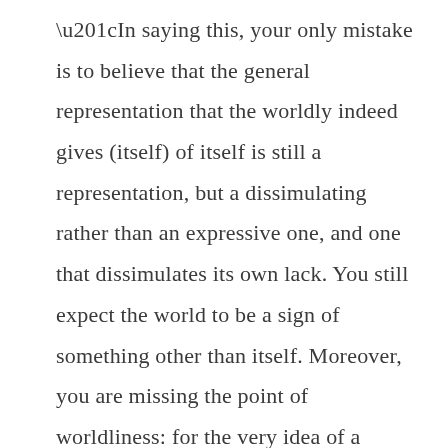“In saying this, your only mistake is to believe that the general representation that the worldly indeed gives (itself) of itself is still a representation, but a dissimulating rather than an expressive one, and one that dissimulates its own lack. You still expect the world to be a sign of something other than itself. Moreover, you are missing the point of worldliness: for the very idea of a representation of the world